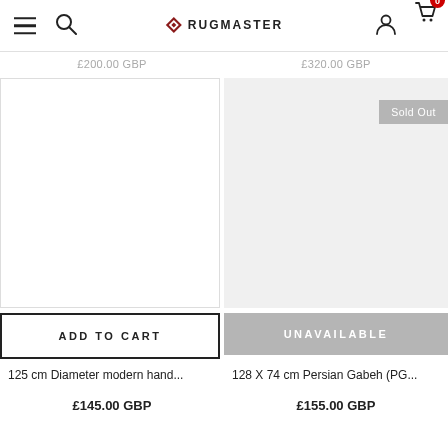RUGMASTER
£200.00 GBP  £320.00 GBP
[Figure (photo): Left rug product image area (blank/white)]
[Figure (photo): Right rug product image area with Sold Out badge]
ADD TO CART
UNAVAILABLE
125 cm Diameter modern hand...
£145.00 GBP
128 X 74 cm Persian Gabeh (PG...
£155.00 GBP